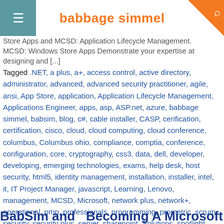babbage simmel
Store Apps and MCSD: Application Lifecycle Management. MCSD: Windows Store Apps Demonstrate your expertise at designing and [...]
Tagged .NET, a plus, a+, access control, active directory, administrator, advanced, advanced security practitioner, agile, ansi, App Store, application, Application Lifecycle Management, Applications Engineer, apps, asp, ASP.net, azure, babbage simmel, babsim, blog, c#, cable installer, CASP, cerification, certification, cisco, cloud, cloud computing, cloud conference, columbus, Columbus ohio, compliance, comptia, conference, configuration, core, cryptography, css3, data, dell, developer, developing, emerging technologies, exams, help desk, host security, html5, identity management, installation, installer, intel, it, IT Project Manager, javascript, Learning, Lenovo, management, MCSD, Microsoft, network plus, network+, operational, pmp, professionals, programming, prometric, scrum, security, security plus, server, sharepoint, Solutions, spotlight, technician, techs, testing, threats, topologies, training, vendor-neutral, virtualization, vulnerabilities, web, windows, Windows App Store, Windows Store |
BabSim and   Becoming A Microsoft